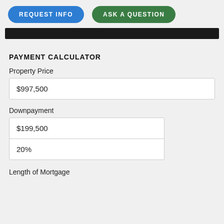REQUEST INFO
ASK A QUESTION
PAYMENT CALCULATOR
Property Price
$997,500
Downpayment
$199,500
20%
Length of Mortgage